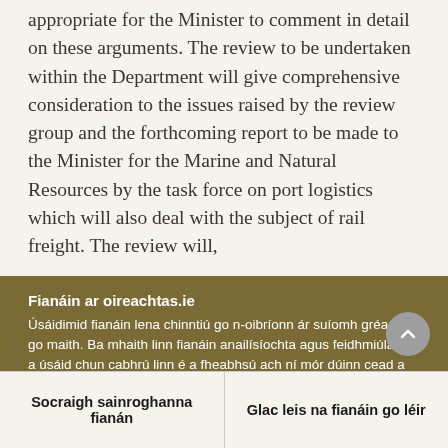appropriate for the Minister to comment in detail on these arguments. The review to be undertaken within the Department will give comprehensive consideration to the issues raised by the review group and the forthcoming report to be made to the Minister for the Marine and Natural Resources by the task force on port logistics which will also deal with the subject of rail freight. The review will,
Fianáin ar oireachtas.ie
Úsáidimid fianáin lena chinntiú go n-oibríonn ár suíomh gréasáin go maith. Ba mhaith linn fianáin anailísíochta agus feidhmiúlachta a úsáid chun cabhrú linn é a fheabhsú ach ní mór dúinn cead a fháil uait sin a dhéanamh. Mura bhfuil tú sásta cead a thabhairt, ní úsáidfear ach fianáin riachtanacha. Léigh tuileadh faoinár bhfianáin
Socraigh sainroghanna fianán
Glac leis na fianáin go léir